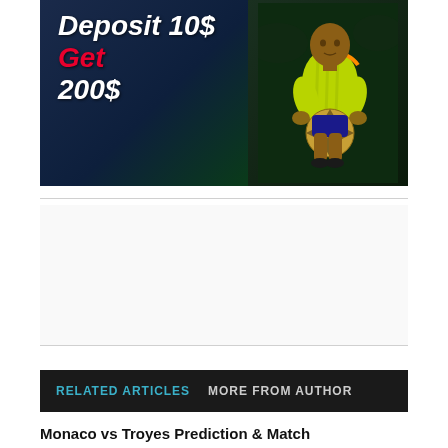[Figure (illustration): Sports betting promotional banner with a footballer in yellow/lime jersey holding a ball on a stadium background. Text reads 'Deposit 10$ Get 200$' with 'Get' in red.]
RELATED ARTICLES    MORE FROM AUTHOR
Monaco vs Troyes Prediction & Match